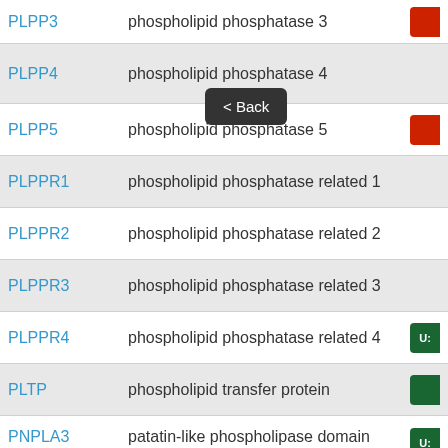PLPP3 - phospholipid phosphatase 3
PLPP4 - phospholipid phosphatase 4
PLPP5 - phospholipid phosphatase 5
PLPPR1 - phospholipid phosphatase related 1
PLPPR2 - phospholipid phosphatase related 2
PLPPR3 - phospholipid phosphatase related 3
PLPPR4 - phospholipid phosphatase related 4
PLTP - phospholipid transfer protein
PNPLA3 - patatin-like phospholipase domain containing 3